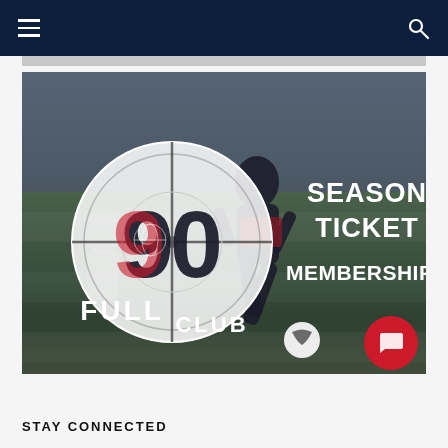Navigation bar with hamburger menu and search icon
[Figure (photo): Soccer player (female) dribbling a ball on a field at night, overlaid with 'Full 90 Club' logo and text 'Season Ticket Memberships']
STAY CONNECTED